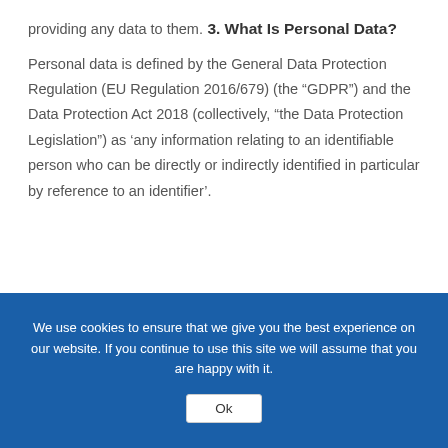providing any data to them.
3. What Is Personal Data?
Personal data is defined by the General Data Protection Regulation (EU Regulation 2016/679) (the “GDPR”) and the Data Protection Act 2018 (collectively, “the Data Protection Legislation”) as ‘any information relating to an identifiable person who can be directly or indirectly identified in particular by reference to an identifier’.
We use cookies to ensure that we give you the best experience on our website. If you continue to use this site we will assume that you are happy with it.